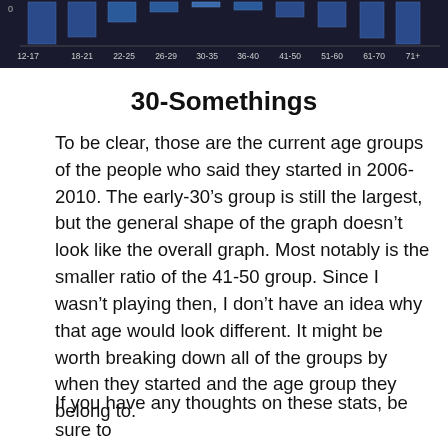[Figure (bar-chart): Partial bar chart showing age groups on x-axis (12-17 through 71+) with dark/blue bars on a dark background. Top portion of chart visible with x-axis labels.]
30-Somethings
To be clear, those are the current age groups of the people who said they started in 2006-2010. The early-30’s group is still the largest, but the general shape of the graph doesn’t look like the overall graph. Most notably is the smaller ratio of the 41-50 group. Since I wasn’t playing then, I don’t have an idea why that age would look different. It might be worth breaking down all of the groups by when they started and the age group they belong to.
If you have any thoughts on these stats, be sure to